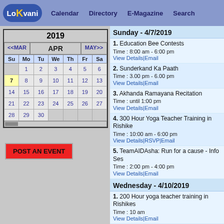Lo K vani | Calendar | Directory | E-Magazine | Search
| Su | Mo | Tu | We | Th | Fr | Sa |
| --- | --- | --- | --- | --- | --- | --- |
|  | 1 | 2 | 3 | 4 | 5 | 6 |
| 7 | 8 | 9 | 10 | 11 | 12 | 13 |
| 14 | 15 | 16 | 17 | 18 | 19 | 20 |
| 21 | 22 | 23 | 24 | 25 | 26 | 27 |
| 28 | 29 | 30 |  |  |  |  |
POST AN EVENT
Sunday - 4/7/2019
1. Education Bee Contests
Time : 8:00 am - 6:00 pm
View Details|Email
2. Sunderkand Ka Paath
Time : 3.00 pm - 6.00 pm
View Details|Email
3. Akhanda Ramayana Recitation
Time : until 1:00 pm
View Details|Email
4. 300 Hour Yoga Teacher Training in Rishike
Time : 10:00 am - 6:00 pm
View Details|RSVP|Email
5. TeamAIDAsha: Run for a cause - Info Ses
Time : 2:00 pm - 4:00 pm
View Details|Email
Wednesday - 4/10/2019
1. 200 Hour yoga teacher training in Rishikes
Time : 10 am
View Details|Email
Friday - 4/12/2019
1. Sonu Nigam and Neha Kakkar Live in Con
Time : 8:00 pm
View Details|Email